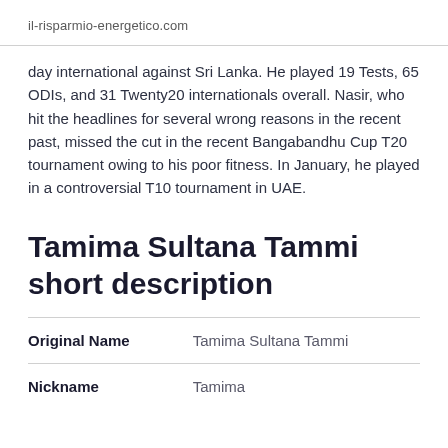il-risparmio-energetico.com
day international against Sri Lanka. He played 19 Tests, 65 ODIs, and 31 Twenty20 internationals overall. Nasir, who hit the headlines for several wrong reasons in the recent past, missed the cut in the recent Bangabandhu Cup T20 tournament owing to his poor fitness. In January, he played in a controversial T10 tournament in UAE.
Tamima Sultana Tammi short description
| Original Name | Tamima Sultana Tammi |
| Nickname | Tamima |